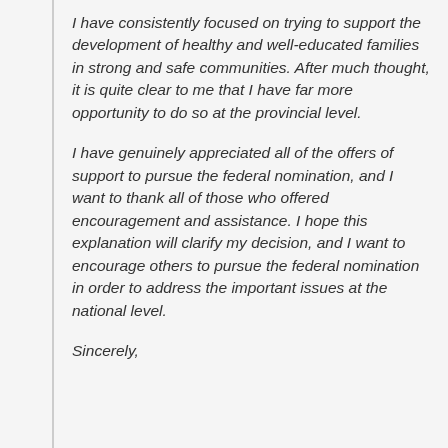I have consistently focused on trying to support the development of healthy and well-educated families in strong and safe communities. After much thought, it is quite clear to me that I have far more opportunity to do so at the provincial level.
I have genuinely appreciated all of the offers of support to pursue the federal nomination, and I want to thank all of those who offered encouragement and assistance. I hope this explanation will clarify my decision, and I want to encourage others to pursue the federal nomination in order to address the important issues at the national level.
Sincerely,